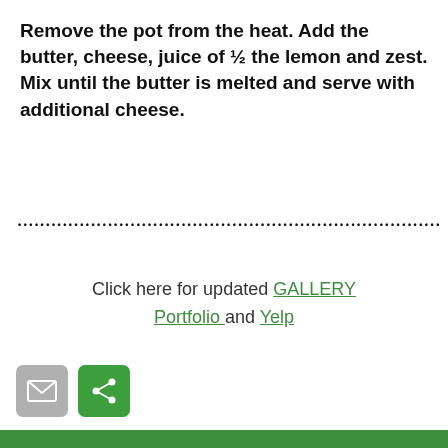Remove the pot from the heat. Add the butter, cheese, juice of ½ the lemon and zest. Mix until the butter is melted and serve with additional cheese.
••••••••••••••••••••••••••••••••••••••••••••••••••••••••••••••••••••••••
Click here for updated GALLERY Portfolio and Yelp
[Figure (other): Email icon button (grey) and Share icon button (green)]
Subscribe to Reveries and Recipes for notifications of weekly updates.
Enter your email
Subscribe